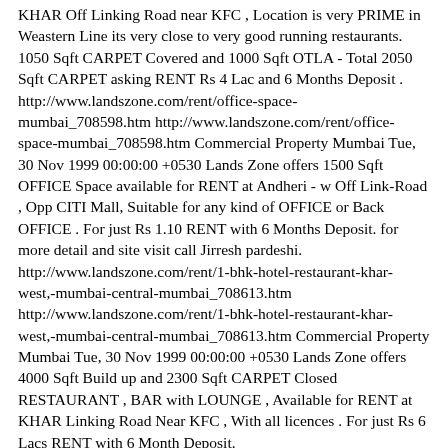KHAR Off Linking Road near KFC , Location is very PRIME in Weastern Line its very close to very good running restaurants. 1050 Sqft CARPET Covered and 1000 Sqft OTLA - Total 2050 Sqft CARPET asking RENT Rs 4 Lac and 6 Months Deposit . http://www.landszone.com/rent/office-space-mumbai_708598.htm http://www.landszone.com/rent/office-space-mumbai_708598.htm Commercial Property Mumbai Tue, 30 Nov 1999 00:00:00 +0530 Lands Zone offers 1500 Sqft OFFICE Space available for RENT at Andheri - w Off Link-Road , Opp CITI Mall, Suitable for any kind of OFFICE or Back OFFICE . For just Rs 1.10 RENT with 6 Months Deposit. for more detail and site visit call Jirresh pardeshi. http://www.landszone.com/rent/1-bhk-hotel-restaurant-khar-west,-mumbai-central-mumbai_708613.htm http://www.landszone.com/rent/1-bhk-hotel-restaurant-khar-west,-mumbai-central-mumbai_708613.htm Commercial Property Mumbai Tue, 30 Nov 1999 00:00:00 +0530 Lands Zone offers 4000 Sqft Build up and 2300 Sqft CARPET Closed RESTAURANT , BAR with LOUNGE , Available for RENT at KHAR Linking Road Near KFC , With all licences . For just Rs 6 Lacs RENT with 6 Month Deposit. http://www.landszone.com/rent/1-bhk-hotel-restaurant-versova-mumbai_708621.htm http://www.landszone.com/rent/1-bhk-hotel-restaurant-versova-mumbai_708621.htm Commercial Property Mumbai Tue, 30 Nov 1999 00:00:00 +0530 Lands Zone offers Restaurant , Bar , Lounge SPACE avilable for RENT at VERSOVA